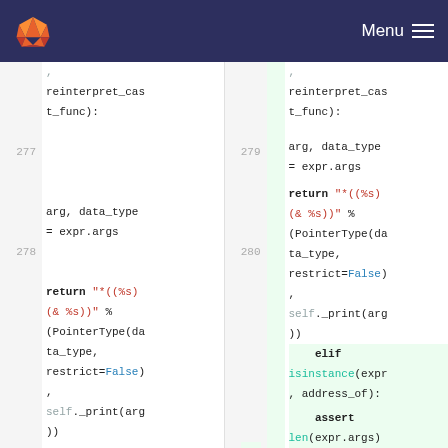Menu
[Figure (screenshot): Code diff view showing two columns of Python source code. Left side shows lines 277-278 with reinterpret_cast_func code. Right side shows lines 279-282 with matching code plus new added lines 281-282 highlighted in green showing 'elif isinstance(expr, address_of):' and 'assert len(expr.args)'.]